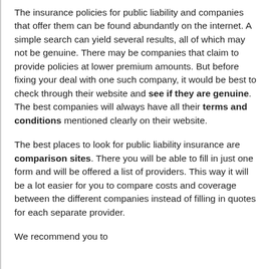The insurance policies for public liability and companies that offer them can be found abundantly on the internet. A simple search can yield several results, all of which may not be genuine. There may be companies that claim to provide policies at lower premium amounts. But before fixing your deal with one such company, it would be best to check through their website and see if they are genuine. The best companies will always have all their terms and conditions mentioned clearly on their website.
The best places to look for public liability insurance are comparison sites. There you will be able to fill in just one form and will be offered a list of providers. This way it will be a lot easier for you to compare costs and coverage between the different companies instead of filling in quotes for each separate provider.
We recommend you to